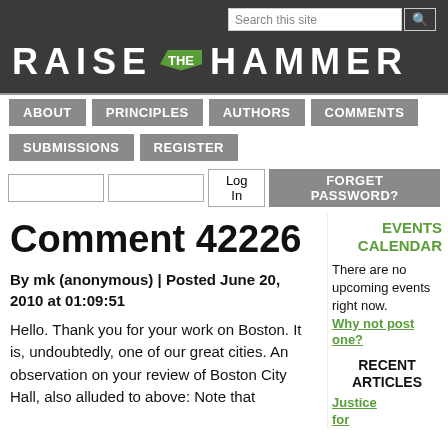Raise the Hammer — Search this site navigation bar
Comment 42226
By mk (anonymous) | Posted June 20, 2010 at 01:09:51
Hello. Thank you for your work on Boston. It is, undoubtedly, one of our great cities. An observation on your review of Boston City Hall, also alluded to above: Note that
EVENTS CALENDAR
There are no upcoming events right now. Why not post one?
RECENT ARTICLES
Justice for